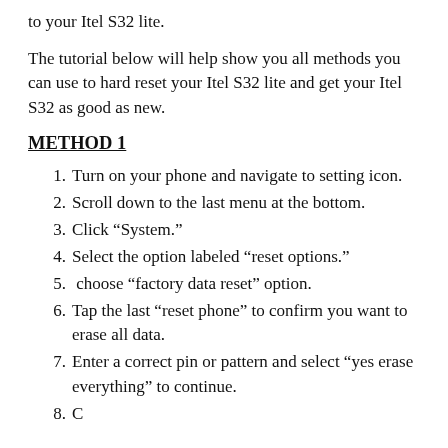to your Itel S32 lite.
The tutorial below will help show you all methods you can use to hard reset your Itel S32 lite and get your Itel S32 as good as new.
METHOD 1
Turn on your phone and navigate to setting icon.
Scroll down to the last menu at the bottom.
Click “System.”
Select the option labeled “reset options.”
choose “factory data reset” option.
Tap the last “reset phone” to confirm you want to erase all data.
Enter a correct pin or pattern and select “yes erase everything” to continue.
Congratulations on your method! Wait...